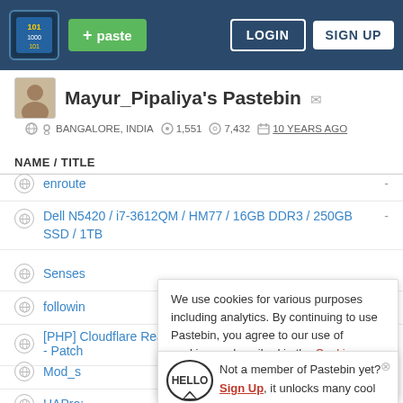Pastebin header with logo, + paste button, LOGIN and SIGN UP buttons
Mayur_Pipaliya's Pastebin
BANGALORE, INDIA  1,551  7,432  10 YEARS AGO
NAME / TITLE
enroute
Dell N5420 / i7-3612QM / HM77 / 16GB DDR3 / 250GB SSD / 1TB
Senses
followin
[PHP] Cloudflare Real Visitor IP - Patch
Mod_s
HAPro:
We use cookies for various purposes including analytics. By continuing to use Pastebin, you agree to our use of cookies as described in the Cookies Policy. OK, I Understand
Not a member of Pastebin yet? Sign Up, it unlocks many cool features!